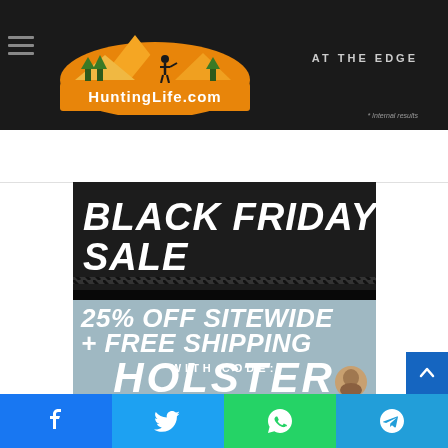[Figure (logo): HuntingLife.com logo with orange mountain/forest illustration and orange banner text]
AT THE EDGE
[Figure (infographic): Black Friday Sale advertisement: 25% OFF SITEWIDE + FREE SHIPPING WITH CODE: HOLSTER]
[Figure (infographic): Bottom social sharing bar with Facebook, Twitter, WhatsApp, and Telegram icons]